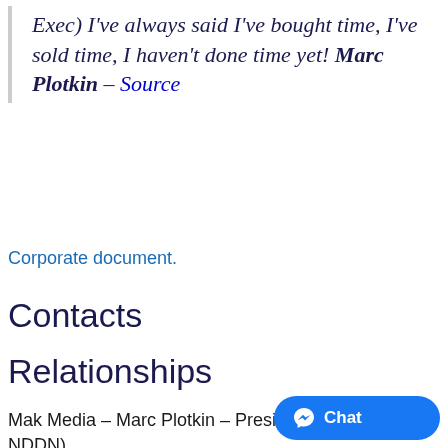Exec) I've always said I've bought time, I've sold time, I haven't done time yet! Marc Plotkin – Source
Corporate document.
Contacts
Relationships
Mak Media – Marc Plotkin – Presi same address as NDDN)